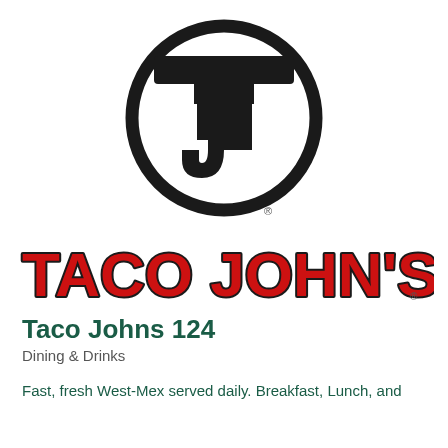[Figure (logo): Taco John's circular logo with 'TJ' monogram in black and white]
[Figure (logo): Taco John's brand name text logo in red with dark outline]
Taco Johns 124
Dining & Drinks
Fast, fresh West-Mex served daily. Breakfast, Lunch, and